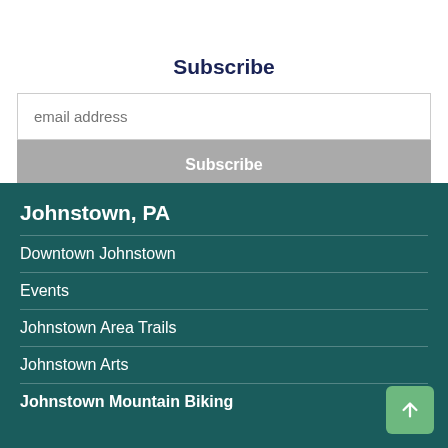Subscribe
email address
Subscribe
Johnstown, PA
Downtown Johnstown
Events
Johnstown Area Trails
Johnstown Arts
Johnstown Mountain Biking